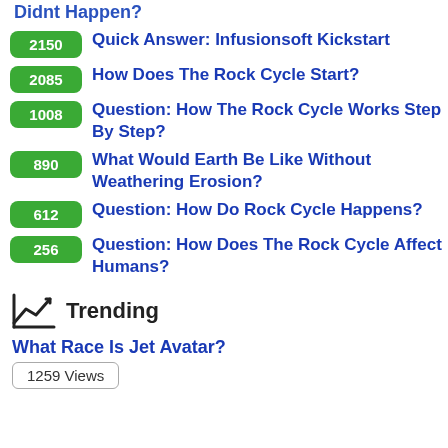Didnt Happen?
2150  Quick Answer: Infusionsoft Kickstart
2085  How Does The Rock Cycle Start?
1008  Question: How The Rock Cycle Works Step By Step?
890  What Would Earth Be Like Without Weathering Erosion?
612  Question: How Do Rock Cycle Happens?
256  Question: How Does The Rock Cycle Affect Humans?
Trending
What Race Is Jet Avatar?
1259 Views